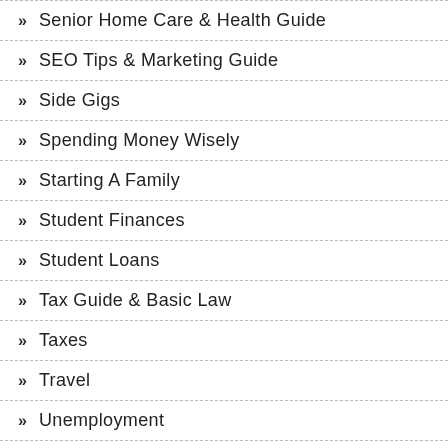Senior Home Care & Health Guide
SEO Tips & Marketing Guide
Side Gigs
Spending Money Wisely
Starting A Family
Student Finances
Student Loans
Tax Guide & Basic Law
Taxes
Travel
Unemployment
Unique Homes
VA Loans